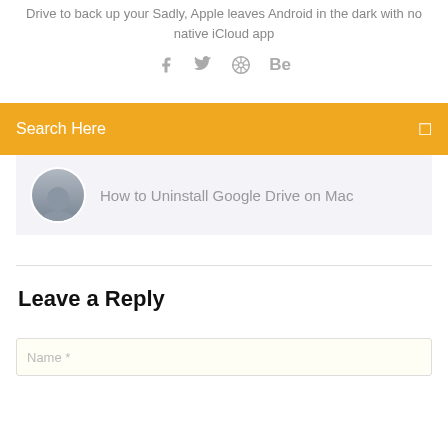Drive to back up your Sadly, Apple leaves Android in the dark with no native iCloud app
[Figure (infographic): Social sharing icons: Facebook (f), Twitter (bird), a circular/wheel icon, and Behance (Be)]
Search Here
How to Uninstall Google Drive on Mac
Leave a Reply
Name *